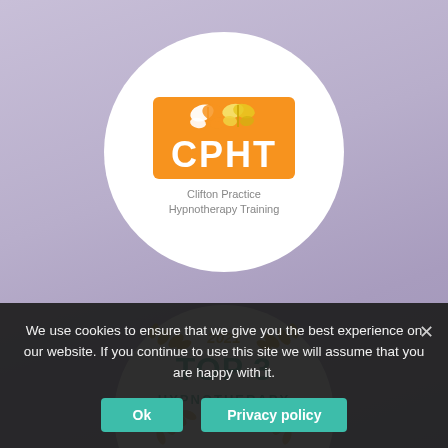[Figure (logo): CPHT (Clifton Practice Hypnotherapy Training) logo inside a white circle on a purple background. Orange rectangle with white butterflies above and CPHT text in white bold letters, subtitle 'Clifton Practice Hypnotherapy Training' in grey below.]
[Figure (illustration): 2021 Top 3 Hypnotherapy award badge — a circular white badge with gold laurel wreath, '2021' in gold italic, 'TOP 3' in large teal bold, 'HYPNOTHERAPY' in teal text below.]
We use cookies to ensure that we give you the best experience on our website. If you continue to use this site we will assume that you are happy with it.
Ok
Privacy policy